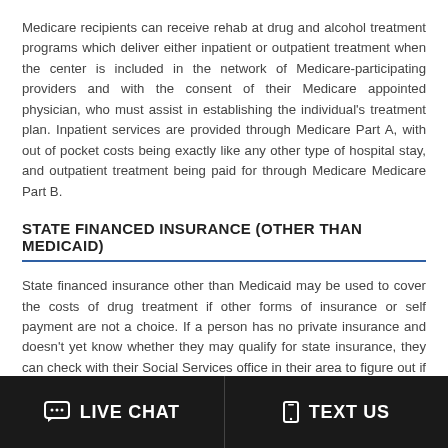Medicare recipients can receive rehab at drug and alcohol treatment programs which deliver either inpatient or outpatient treatment when the center is included in the network of Medicare-participating providers and with the consent of their Medicare appointed physician, who must assist in establishing the individual's treatment plan. Inpatient services are provided through Medicare Part A, with out of pocket costs being exactly like any other type of hospital stay, and outpatient treatment being paid for through Medicare Medicare Part B.
STATE FINANCED INSURANCE (OTHER THAN MEDICAID)
State financed insurance other than Medicaid may be used to cover the costs of drug treatment if other forms of insurance or self payment are not a choice. If a person has no private insurance and doesn't yet know whether they may qualify for state insurance, they can check with their Social Services office in their area to figure out if they are and then apply. Most state financed insurance will take care of both outpatient and
LIVE CHAT   TEXT US